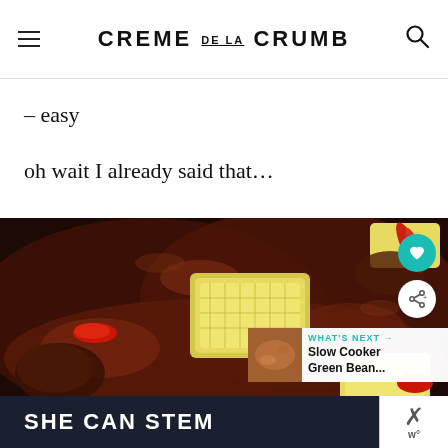CREME DE LA CRUMB
– easy
oh wait I already said that…
[Figure (photo): Close-up food photo of a dish with pineapple chunks, red chili peppers, and meat in a dark glossy sauce, with heart and share buttons, and a 'What's Next' overlay showing Slow Cooker Green Bean...]
[Figure (infographic): SHE CAN STEM advertisement banner in dark navy background with white bold text, with a close button on the right]